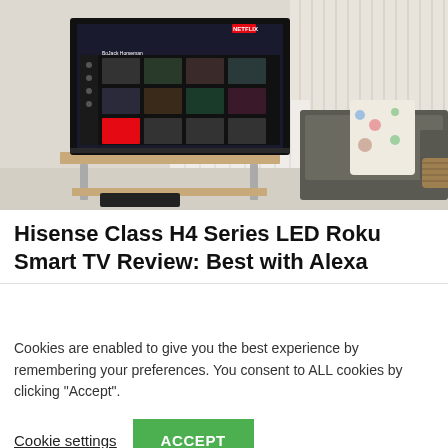[Figure (photo): Living room scene with a flat-screen TV on a wooden stand displaying a Netflix-like interface (BoJack Horseman visible), with a grey sofa and decorative pillows in the background near a window with vertical blinds and a white radiator]
Hisense Class H4 Series LED Roku Smart TV Review: Best with Alexa
Cookies are enabled to give you the best experience by remembering your preferences. You consent to ALL cookies by clicking "Accept".